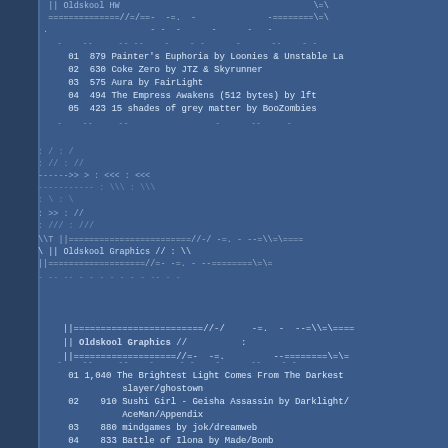ASCII art decoration top
01  879 Painter's Euphoria by Loonies & Unstable La
02  630 Coke Zero by JTZ & Skyrunner
03  575 Aura by FairLight
04  494 The Empress Awakens (512 bytes) by lft
05  423 15 shades of grey matter by BooZombies
[Figure (illustration): ASCII art decorative middle section with arrows and geometric shapes]
Oldskool Graphics //
01 1,040 The Brightest Light Comes From The Darkest slayer/ghostown
02  910 Sushi Girl - Geisha Assassin by Darklight/AceMan/Appendix
03  880 mindgames by jok/dreamweb
04  833 Battle of Ilona by Made/Bomb
05  732 Biased Decisions by Raven/Nuance
06  661 This world is so fucked, let's end it toni Frost/Tulou^Panda Design
07  627 Dude,  Got Your Dosage? by Elko/TRSi
08  566 Basilisk by eyesee/plush^nuance
09  443 Pilzwald by Fen/AttentionWhore